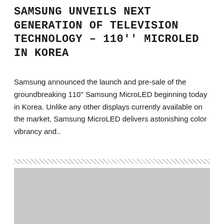SAMSUNG UNVEILS NEXT GENERATION OF TELEVISION TECHNOLOGY – 110'' MICROLED IN KOREA
Samsung announced the launch and pre-sale of the groundbreaking 110" Samsung MicroLED beginning today in Korea. Unlike any other displays currently available on the market, Samsung MicroLED delivers astonishing color vibrancy and..
[Figure (photo): Gray placeholder image block below a decorative diagonal-stripe divider line]